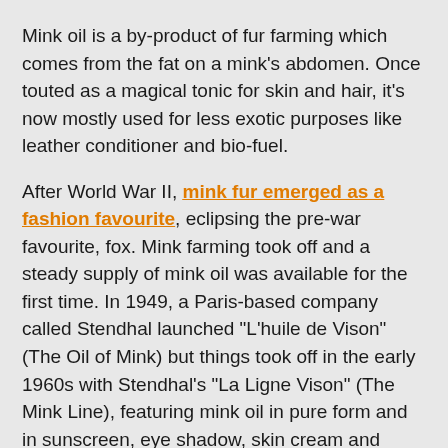Mink oil is a by-product of fur farming which comes from the fat on a mink’s abdomen. Once touted as a magical tonic for skin and hair, it’s now mostly used for less exotic purposes like leather conditioner and bio-fuel.
After World War II, mink fur emerged as a fashion favourite, eclipsing the pre-war favourite, fox. Mink farming took off and a steady supply of mink oil was available for the first time. In 1949, a Paris-based company called Stendhal launched “L’huile de Vison” (The Oil of Mink) but things took off in the early 1960s with Stendhal’s “La Ligne Vison” (The Mink Line), featuring mink oil in pure form and in sunscreen, eye shadow, skin cream and soap. Competitors followed suit, adding mink oil to lipstick, cleanser, moisturizer and hair products.
These days, mink oil beauty products are harder to come by and mink carcasses are usually composted...